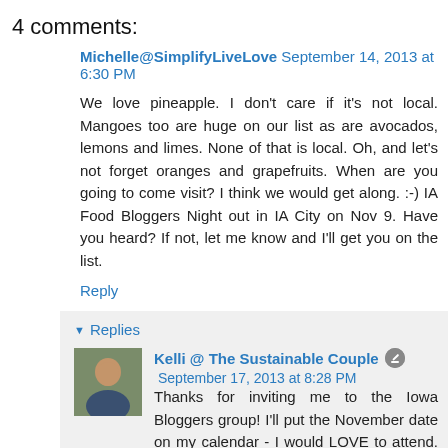4 comments:
Michelle@SimplifyLiveLove September 14, 2013 at 6:30 PM
We love pineapple. I don't care if it's not local. Mangoes too are huge on our list as are avocados, lemons and limes. None of that is local. Oh, and let's not forget oranges and grapefruits. When are you going to come visit? I think we would get along. :-) IA Food Bloggers Night out in IA City on Nov 9. Have you heard? If not, let me know and I'll get you on the list.
Reply
▼ Replies
Kelli @ The Sustainable Couple September 17, 2013 at 8:28 PM
Thanks for inviting me to the Iowa Bloggers group! I'll put the November date on my calendar - I would LOVE to attend. Perhaps I can sneak your way to see some progress on your passive